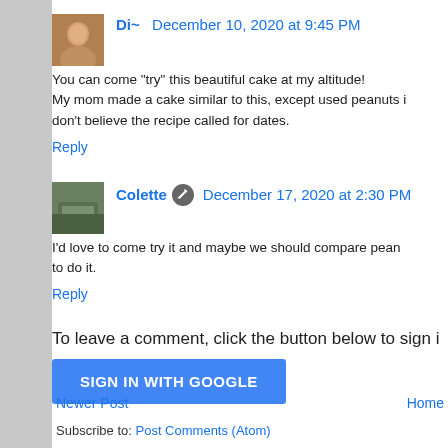Di~  December 10, 2020 at 9:45 PM
You can come "try" this beautiful cake at my altitude! My mom made a cake similar to this, except used peanuts in don't believe the recipe called for dates.
Reply
Colette  December 17, 2020 at 2:30 PM
I'd love to come try it and maybe we should compare pean to do it.
Reply
To leave a comment, click the button below to sign i
SIGN IN WITH GOOGLE
Newer Post
Home
Subscribe to: Post Comments (Atom)